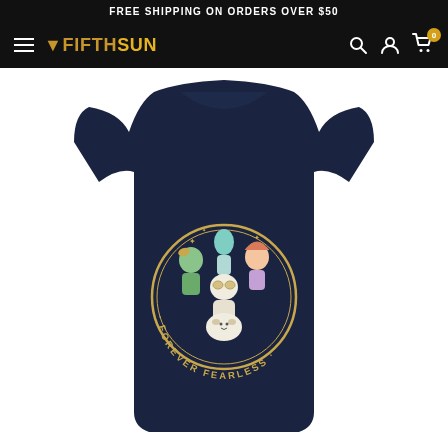FREE SHIPPING ON ORDERS OVER $50
[Figure (logo): Fifth Sun brand logo with hamburger menu on black navigation bar, with search, account, and cart icons on the right]
[Figure (photo): Navy blue women's t-shirt with 'Forever Fearless' circular graphic featuring animated cartoon characters]